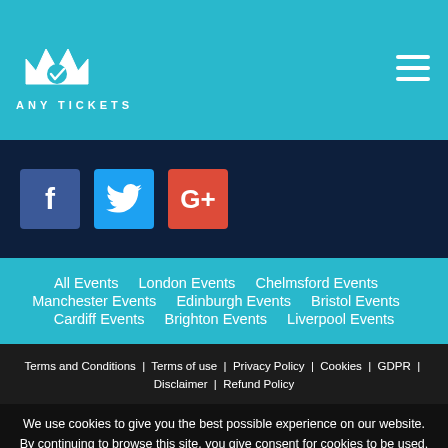[Figure (logo): Any Tickets logo with crown/crown icon and text ANY TICKETS]
[Figure (illustration): Hamburger menu icon (three horizontal lines) in top right corner]
[Figure (illustration): Social media icons: Facebook (f), Twitter (bird), Google+ (G+)]
All Events    London Events    Chelmsford Events    Manchester Events    Edinburgh Events    Bristol Events    Cardiff Events    Brighton Events    Liverpool Events
Terms and Conditions | Terms of use | Privacy Policy | Cookies | GDPR | Disclaimer | Refund Policy
We use cookies to give you the best possible experience on our website. By continuing to browse this site, you give consent for cookies to be used. More details can be found in our Privacy and Cookie Policy  ✕
Do not show this message again